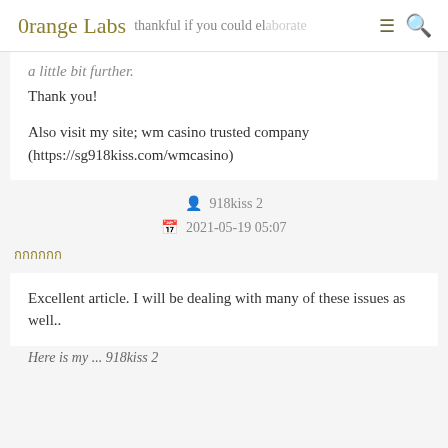0range Labs  ≡  🔍  thankful if you could elaborate a little bit further.
a little bit further.
Thank you!

Also visit my site; wm casino trusted company (https://sg918kiss.com/wmcasino)
👤 918kiss 2
📅 2021-05-19 05:07
กกกกกก
Excellent article. I will be dealing with many of these issues as well..
Here is my ... 918kiss 2